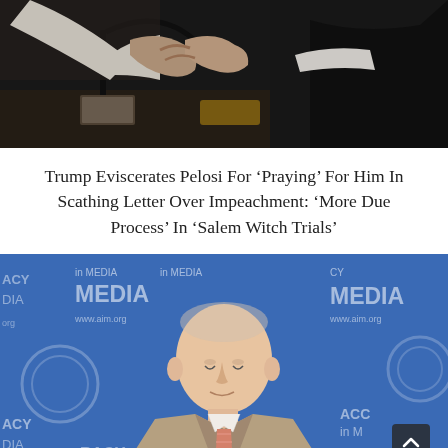[Figure (photo): Two people shaking hands at a formal setting with a microphone stand visible in the foreground; one person wearing a white top and the other in a dark suit, appearing to be at a congressional or governmental hearing.]
Trump Eviscerates Pelosi For ‘Praying’ For Him In Scathing Letter Over Impeachment: ‘More Due Process’ In ‘Salem Witch Trials’
[Figure (photo): An elderly man in a tan suit and striped tie speaking at a podium in front of a blue backdrop with repeated 'Accuracy in MEDIA' and 'www.aim.org' branding logos. A scroll-to-top button is visible in the lower right corner.]